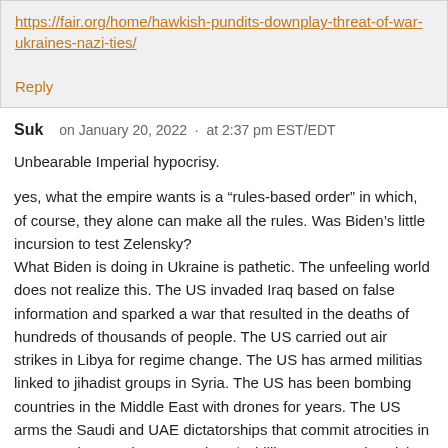https://fair.org/home/hawkish-pundits-downplay-threat-of-war-ukraines-nazi-ties/
Reply
Suk   on January 20, 2022  ·  at 2:37 pm EST/EDT
Unbearable Imperial hypocrisy.
yes, what the empire wants is a “rules-based order” in which, of course, they alone can make all the rules. Was Biden’s little incursion to test Zelensky?
What Biden is doing in Ukraine is pathetic. The unfeeling world does not realize this. The US invaded Iraq based on false information and sparked a war that resulted in the deaths of hundreds of thousands of people. The US carried out air strikes in Libya for regime change. The US has armed militias linked to jihadist groups in Syria. The US has been bombing countries in the Middle East with drones for years. The US arms the Saudi and UAE dictatorships that commit atrocities in Yemen. The US gives more than $1 billion a year to the Sisi dictatorship in Egypt. The US occupied Afghanistan for two decades. That’s just for this century. I could also cite all the American actions in the Cold War